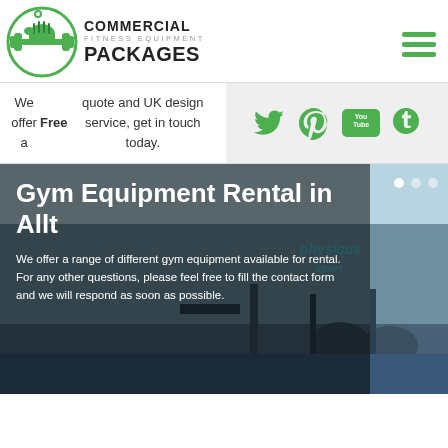[Figure (logo): Commercial Fitness Equipment Packages logo with green dumbbell icon and bold text]
We offer a Free quote and UK design service, get in touch today.
[Figure (infographic): Social media icons: Twitter, Pinterest, YouTube, Tumblr in green]
[Figure (photo): Gym interior with exercise bikes and fitness equipment, with overlay showing title and description text]
Gym Equipment Rental in Allt
We offer a range of different gym equipment available for rental. For any other questions, please feel free to fill the contact form and we will respond as soon as possible.